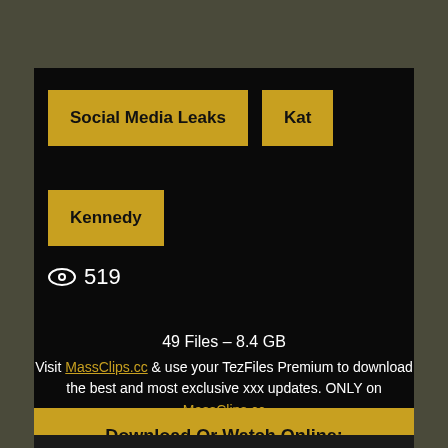Social Media Leaks
Kat
Kennedy
519
49 Files – 8.4 GB
Visit MassClips.cc & use your TezFiles Premium to download the best and most exclusive xxx updates. ONLY on MassClips.cc
Download Or Watch Online: